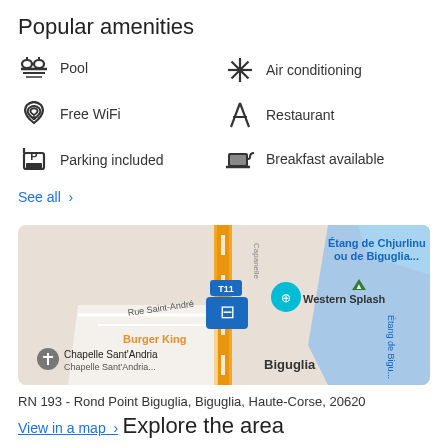Popular amenities
Pool
Air conditioning
Free WiFi
Restaurant
Parking included
Breakfast available
See all >
[Figure (map): Google Maps screenshot showing Biguglia area near Bastia, Corsica. Shows Etang de Chjurlinu ou de Biguglia, Western Splash, Burger King, Chapelle Sant'Andria, T11 road, Rue Saint-Andre, and a hotel pin marker.]
RN 193 - Rond Point Biguglia, Biguglia, Haute-Corse, 20620
View in a map >
Explore the area